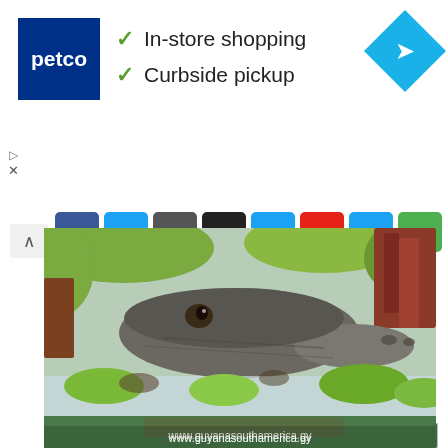[Figure (screenshot): Petco advertisement banner with logo, 'In-store shopping' and 'Curbside pickup' text with checkmarks, and a navigation/directions icon]
[Figure (screenshot): Social media sharing buttons including Facebook, Twitter, WeChat, Yahoo, Yummly, Like (39), Tweet, Pinterest Save, and a plus button, with a chevron-up toggle]
[Figure (photo): Close-up photograph of a caiman (large reptile) resting among green aquatic plants and lily pads in water, with watermark text 'www.guyanasouthamerica.gy']
www.guyanasouthamerica.gy